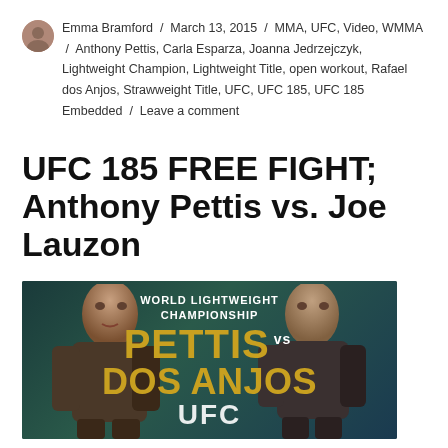Emma Bramford / March 13, 2015 / MMA, UFC, Video, WMMA / Anthony Pettis, Carla Esparza, Joanna Jedrzejczyk, Lightweight Champion, Lightweight Title, open workout, Rafael dos Anjos, Strawweight Title, UFC, UFC 185, UFC 185 Embedded / Leave a comment
UFC 185 FREE FIGHT; Anthony Pettis vs. Joe Lauzon
[Figure (illustration): UFC 185 promotional image showing Anthony Pettis vs Rafael dos Anjos for the World Lightweight Championship. Two fighters face the camera with text overlay reading 'WORLD LIGHTWEIGHT CHAMPIONSHIP PETTIS vs DOS ANJOS UFC']